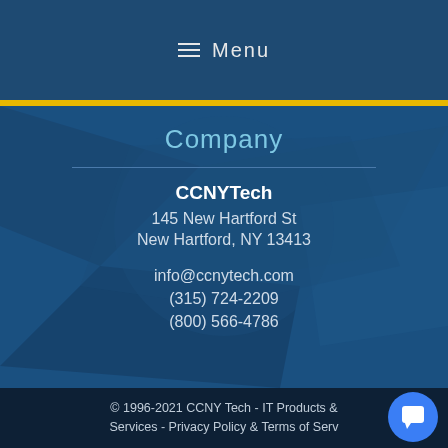≡ Menu
Company
CCNYTech
145 New Hartford St
New Hartford, NY 13413
info@ccnytech.com
(315) 724-2209
(800) 566-4786
© 1996-2021 CCNY Tech - IT Products & Services - Privacy Policy & Terms of Serv